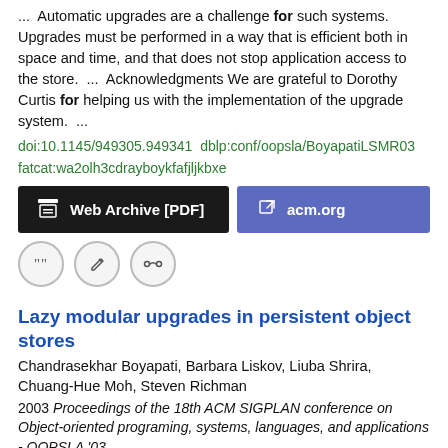...  Automatic upgrades are a challenge for such systems. Upgrades must be performed in a way that is efficient both in space and time, and that does not stop application access to the store.  ...  Acknowledgments We are grateful to Dorothy Curtis for helping us with the implementation of the upgrade system.  ...
doi:10.1145/949305.949341  dblp:conf/oopsla/BoyapatiLSMR03  fatcat:wa2olh3cdrayboykfafjljkbxe
[Figure (other): Two buttons: 'Web Archive [PDF]' in black and 'acm.org' in purple/blue, followed by three icon circles (quote, edit, link)]
Lazy modular upgrades in persistent object stores
Chandrasekhar Boyapati, Barbara Liskov, Liuba Shrira, Chuang-Hue Moh, Steven Richman
2003 Proceedings of the 18th ACM SIGPLAN conference on Object-oriented programing, systems, languages, and applications - OOPSLA '03
The paper then describes a new approach for executing upgrades efficiently while satisfying the upgrade modularity conditions. The approach exploits object encapsulation properties in a novel way.  ...  Automatic upgrades are a challenge for such systems. Upgrades must be performed in a way that is efficient both in space and time,